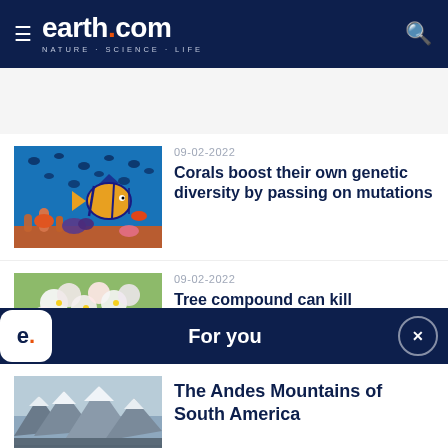earth.com — NATURE · SCIENCE · LIFE
[Figure (photo): Coral reef with colorful tropical fish swimming around coral formations in blue water]
09-02-2022
Corals boost their own genetic diversity by passing on mutations
[Figure (photo): Close-up of white and pink flowering tree blossoms with green leaves]
09-02-2022
Tree compound can kill
[Figure (infographic): Earth.com app notification banner saying 'For you' with app icon and close button]
[Figure (photo): Aerial view of the Andes Mountains covered in snow and rocky terrain in South America]
The Andes Mountains of South America